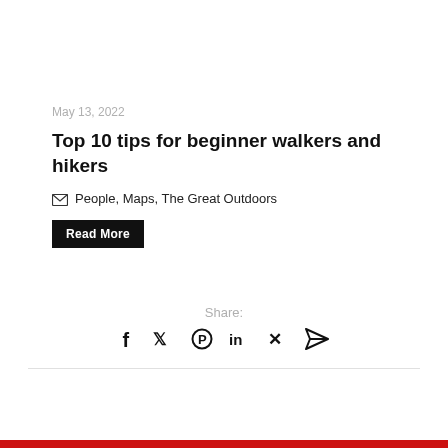May 13, 2022
Top 10 tips for beginner walkers and hikers
People, Maps, The Great Outdoors
Read More
Share:
[Figure (infographic): Social sharing icons: Facebook, Twitter, Pinterest, LinkedIn, Xing, Email/send]